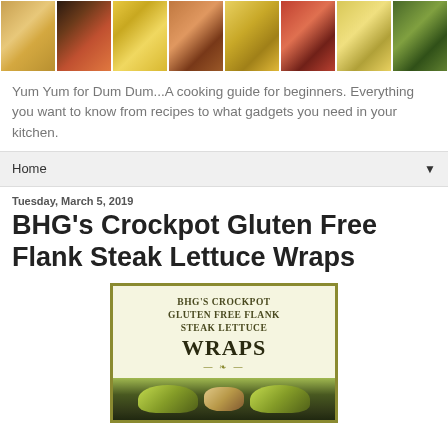[Figure (photo): Header strip of food photo tiles showing various dishes]
Yum Yum for Dum Dum...A cooking guide for beginners. Everything you want to know from recipes to what gadgets you need in your kitchen.
Home ▼
Tuesday, March 5, 2019
BHG's Crockpot Gluten Free Flank Steak Lettuce Wraps
[Figure (photo): Recipe card image for BHG's Crockpot Gluten Free Flank Steak Lettuce Wraps with text and food photo]